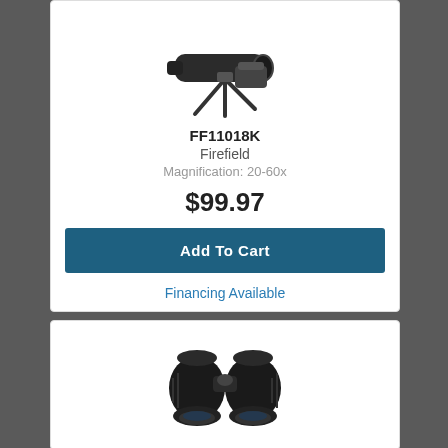[Figure (photo): Product photo of a spotting scope on a tripod with carrying bag]
FF11018K
Firefield
Magnification: 20-60x
$99.97
Add To Cart
Financing Available
[Figure (photo): Product photo of black binoculars]